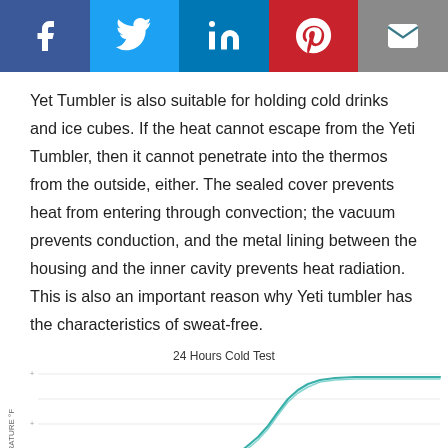[Figure (other): Social media sharing bar with Facebook, Twitter, LinkedIn, Pinterest, and Email buttons]
Yet Tumbler is also suitable for holding cold drinks and ice cubes. If the heat cannot escape from the Yeti Tumbler, then it cannot penetrate into the thermos from the outside, either. The sealed cover prevents heat from entering through convection; the vacuum prevents conduction, and the metal lining between the housing and the inner cavity prevents heat radiation. This is also an important reason why Yeti tumbler has the characteristics of sweat-free.
[Figure (line-chart): Line chart showing temperature over 24 hours cold test; two close lines starting low, staying flat, then rising steeply around hour 8-10, then leveling off near top]